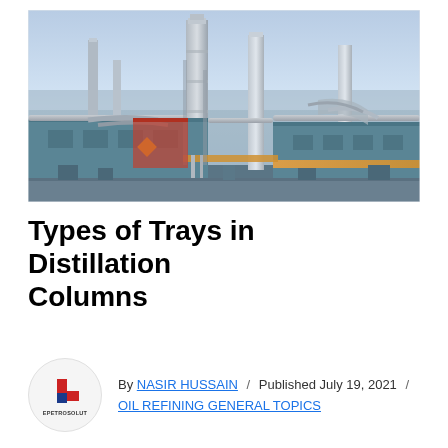[Figure (photo): Aerial view of an industrial oil refinery or petrochemical plant with distillation columns, towers, pipes, and processing equipment. The facility has large cylindrical towers, extensive piping networks, and industrial structures. The image has a blue-grey hue typical of dusk or dawn lighting.]
Types of Trays in Distillation Columns
By NASIR HUSSAIN / Published July 19, 2021 / OIL REFINING GENERAL TOPICS